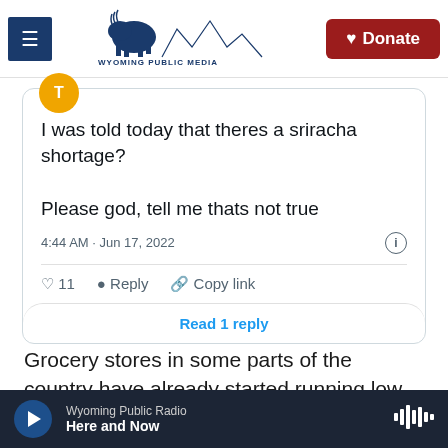Wyoming Public Media — Donate
[Figure (screenshot): Embedded tweet screenshot showing text: 'I was told today that theres a sriracha shortage? Please god, tell me thats not true' posted at 4:44 AM · Jun 17, 2022, with 11 likes, Reply, Copy link, and Read 1 reply button]
Grocery stores in some parts of the country have already started running low on stock, and restaurant owners have been facing higher prices,
Wyoming Public Radio — Here and Now